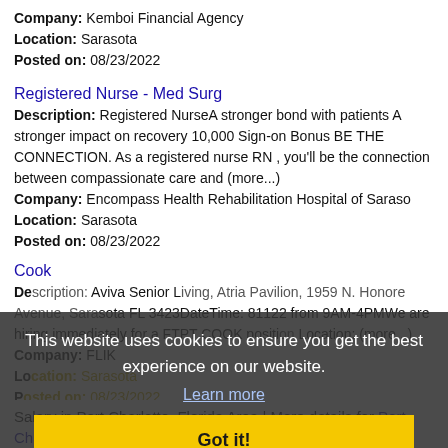Company: Kemboi Financial Agency
Location: Sarasota
Posted on: 08/23/2022
Registered Nurse - Med Surg
Description: Registered NurseA stronger bond with patients A stronger impact on recovery 10,000 Sign-on Bonus BE THE CONNECTION. As a registered nurse RN , you'll be the connection between compassionate care and (more...)
Company: Encompass Health Rehabilitation Hospital of Saraso
Location: Sarasota
Posted on: 08/23/2022
Cook
Description: [cookie overlay obscures text] Location: Aviva Senior Living, Atria Pavilion, 1959 N. Honore Avenue, Sarasota FL 3423DateTime: 81122 from 9AM-4PMWe are hiring immediately for a FTPT COOK position Location: (more...)
Company: FLIK
Location: Sarasota
Posted on: 08/23/2022
This website uses cookies to ensure you get the best experience on our website.
Learn more
Got it!
Salary in Port Charlotte, Florida Area | More details for Port Charlotte, Florida Jobs |Salary